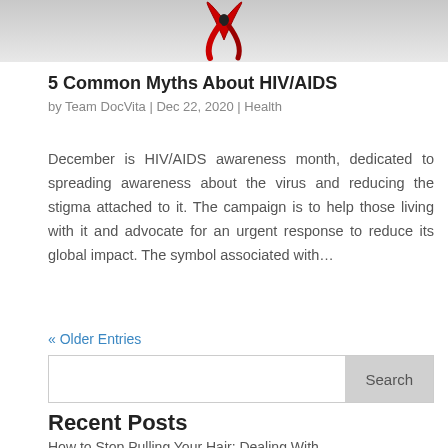[Figure (photo): Partial view of HIV/AIDS awareness ribbon illustration - red ribbon on gray gradient background]
5 Common Myths About HIV/AIDS
by Team DocVita | Dec 22, 2020 | Health
December is HIV/AIDS awareness month, dedicated to spreading awareness about the virus and reducing the stigma attached to it. The campaign is to help those living with it and advocate for an urgent response to reduce its global impact. The symbol associated with...
« Older Entries
Recent Posts
How to Stop Pulling Your Hair: Dealing With